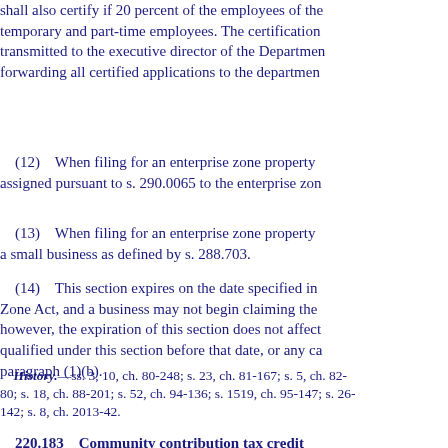shall also certify if 20 percent of the employees of the temporary and part-time employees. The certification transmitted to the executive director of the Department forwarding all certified applications to the department
(12)    When filing for an enterprise zone property assigned pursuant to s. 290.0065 to the enterprise zone
(13)    When filing for an enterprise zone property a small business as defined by s. 288.703.
(14)    This section expires on the date specified in Zone Act, and a business may not begin claiming the however, the expiration of this section does not affect qualified under this section before that date, or any ca paragraph (1)(b).
History.—ss. 3, 10, ch. 80-248; s. 23, ch. 81-167; s. 5, ch. 82-80; s. 18, ch. 88-201; s. 52, ch. 94-136; s. 1519, ch. 95-147; s. 26-142; s. 8, ch. 2013-42.
220.183    Community contribution tax credit
(1)    AUTHORIZATION TO GRANT COMMUNITY ON INDIVIDUAL CREDITS AND PROGRAM SPENDING
(a)    There shall be allowed a credit of 50 percent taxable year under this chapter.
(b)    No business firm shall receive more than $200 contributions made in any one year.